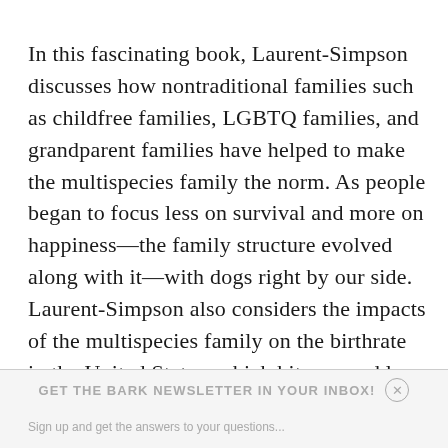In this fascinating book, Laurent-Simpson discusses how nontraditional families such as childfree families, LGBTQ families, and grandparent families have helped to make the multispecies family the norm. As people began to focus less on survival and more on happiness—the family structure evolved along with it—with dogs right by our side. Laurent-Simpson also considers the impacts of the multispecies family on the birthrate in the United States, which hit a record low in 2020.
GET THE BARK NEWSLETTER IN YOUR INBOX!
Sign up and get the answers to your questions...